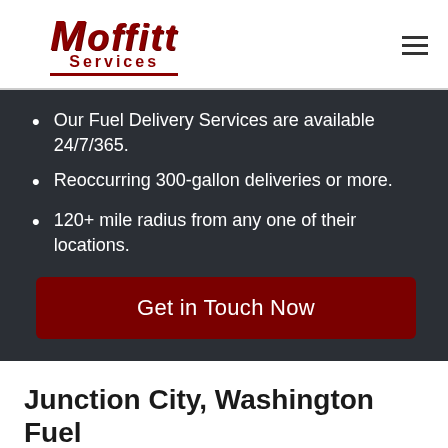Moffitt Services
Our Fuel Delivery Services are available 24/7/365.
Reoccurring 300-gallon deliveries or more.
120+ mile radius from any one of their locations.
Get in Touch Now
Junction City, Washington Fuel Delivery Services & Storage